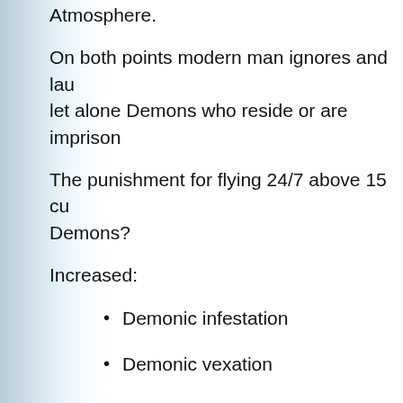Atmosphere.
On both points modern man ignores and lau let alone Demons who reside or are imprison
The punishment for flying 24/7 above 15 cu Demons?
Increased:
Demonic infestation
Demonic vexation
Demonic obsession
Demonic possessions